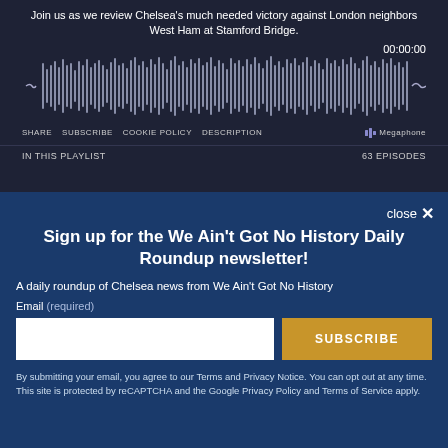Join us as we review Chelsea's much needed victory against London neighbors West Ham at Stamford Bridge.
00:00:00
[Figure (other): Audio waveform visualization showing podcast audio bars in white/grey on dark background]
SHARE  SUBSCRIBE  COOKIE POLICY  DESCRIPTION  Megaphone
IN THIS PLAYLIST  63 EPISODES
close ✕
Sign up for the We Ain't Got No History Daily Roundup newsletter!
A daily roundup of Chelsea news from We Ain't Got No History
Email (required)
SUBSCRIBE
By submitting your email, you agree to our Terms and Privacy Notice. You can opt out at any time. This site is protected by reCAPTCHA and the Google Privacy Policy and Terms of Service apply.